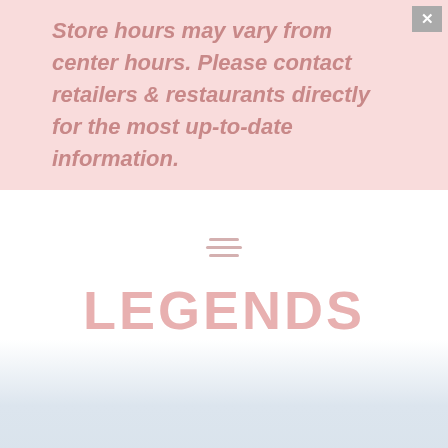Store hours may vary from center hours. Please contact retailers & restaurants directly for the most up-to-date information.
[Figure (logo): Legends Outlets logo with hamburger menu icon above, showing store hours 10AM - 8PM in a pink badge]
PREP FOR